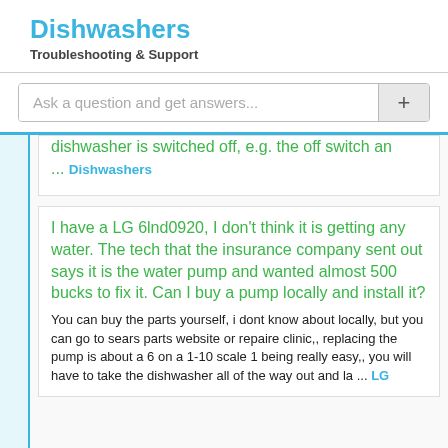Dishwashers
Troubleshooting & Support
Ask a question and get answers...
dishwasher is switched off, e.g. the off switch an
... Dishwashers
I have a LG 6lnd0920, I don't think it is getting any water. The tech that the insurance company sent out says it is the water pump and wanted almost 500 bucks to fix it. Can I buy a pump locally and install it?
You can buy the parts yourself, i dont know about locally, but you can go to sears parts website or repaire clinic,, replacing the pump is about a 6 on a 1-10 scale 1 being really easy,, you will have to take the dishwasher all of the way out and la ... LG